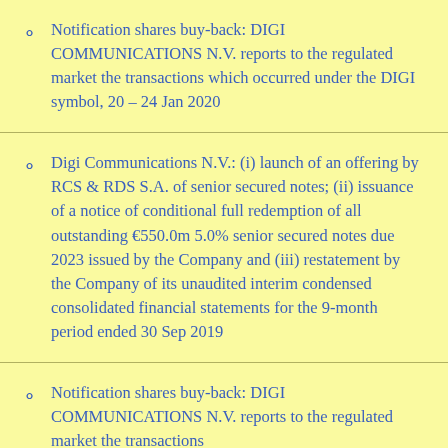Notification shares buy-back: DIGI COMMUNICATIONS N.V. reports to the regulated market the transactions which occurred under the DIGI symbol, 20 – 24 Jan 2020
Digi Communications N.V.: (i) launch of an offering by RCS & RDS S.A. of senior secured notes; (ii) issuance of a notice of conditional full redemption of all outstanding €550.0m 5.0% senior secured notes due 2023 issued by the Company and (iii) restatement by the Company of its unaudited interim condensed consolidated financial statements for the 9-month period ended 30 Sep 2019
Notification shares buy-back: DIGI COMMUNICATIONS N.V. reports to the regulated market the transactions